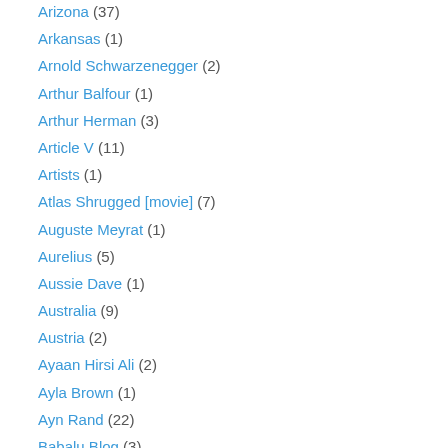Arizona (37)
Arkansas (1)
Arnold Schwarzenegger (2)
Arthur Balfour (1)
Arthur Herman (3)
Article V (11)
Artists (1)
Atlas Shrugged [movie] (7)
Auguste Meyrat (1)
Aurelius (5)
Aussie Dave (1)
Australia (9)
Austria (2)
Ayaan Hirsi Ali (2)
Ayla Brown (1)
Ayn Rand (22)
Babalu Blog (3)
Backstabbing Bitch (3)
Bad Blue (3)
Balanced Budget Amendment (1)